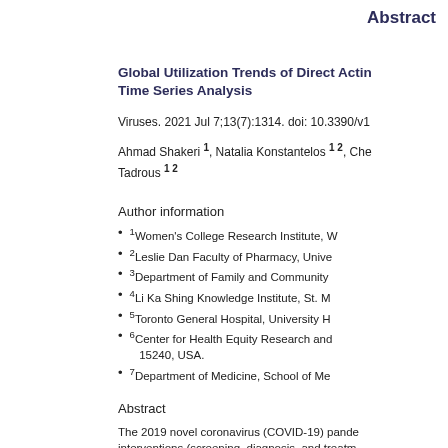Abstract
Global Utilization Trends of Direct Acting Time Series Analysis
Viruses. 2021 Jul 7;13(7):1314. doi: 10.3390/v1
Ahmad Shakeri 1, Natalia Konstantelos 1 2, Che Tadrous 1 2
Author information
1Women's College Research Institute, W
2Leslie Dan Faculty of Pharmacy, Unive
3Department of Family and Community
4Li Ka Shing Knowledge Institute, St. M
5Toronto General Hospital, University H
6Center for Health Equity Research and 15240, USA.
7Department of Medicine, School of Me
Abstract
The 2019 novel coronavirus (COVID-19) pande interventions (screening, diagnosis, and treatm elimination. We sought to quantify changes in D during the pandemic. We conducted a cross-s